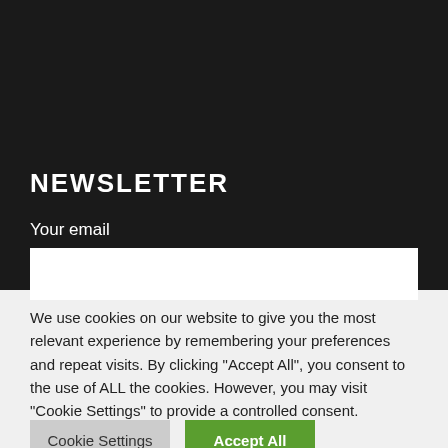NEWSLETTER
Your email
We use cookies on our website to give you the most relevant experience by remembering your preferences and repeat visits. By clicking “Accept All”, you consent to the use of ALL the cookies. However, you may visit “Cookie Settings” to provide a controlled consent.
Cookie Settings
Accept All